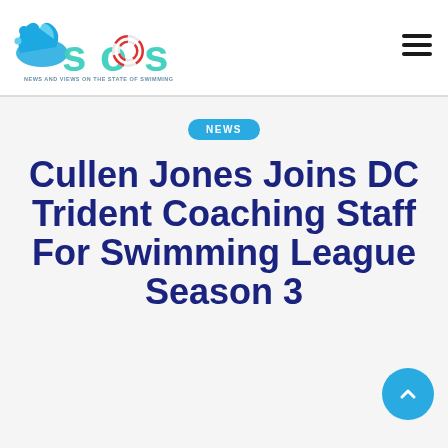SOS — NEWS AND VIEWS ON THE STATE OF SWIMMING FROM CRAIG LORD AND GUESTS
[Figure (logo): SOS Swimming logo: blue water splash with teal 'SOS' letters and a red/white life ring in the center 'O']
NEWS
Cullen Jones Joins DC Trident Coaching Staff For Swimming League Season 3